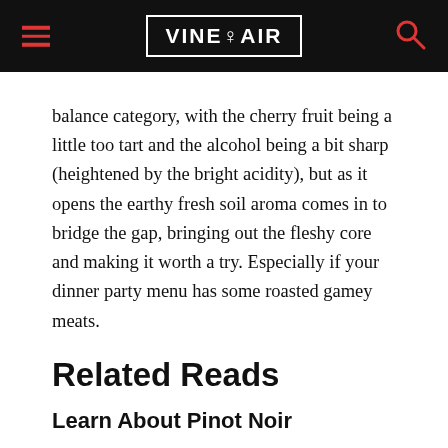VINEPAIR
balance category, with the cherry fruit being a little too tart and the alcohol being a bit sharp (heightened by the bright acidity), but as it opens the earthy fresh soil aroma comes in to bridge the gap, bringing out the fleshy core and making it worth a try. Especially if your dinner party menu has some roasted gamey meats.
Related Reads
Learn About Pinot Noir
Pinot Noir 101